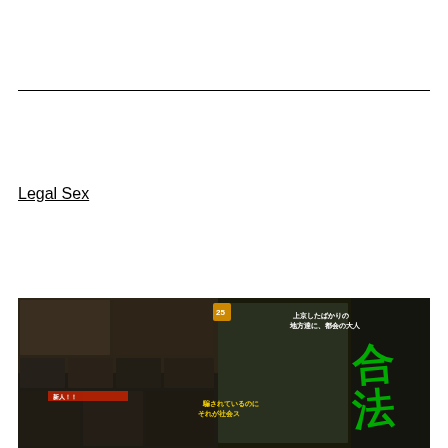Legal Sex
[Figure (photo): Collage of Japanese adult video cover art featuring multiple people, Japanese text overlays in yellow and green, and various scenes.]